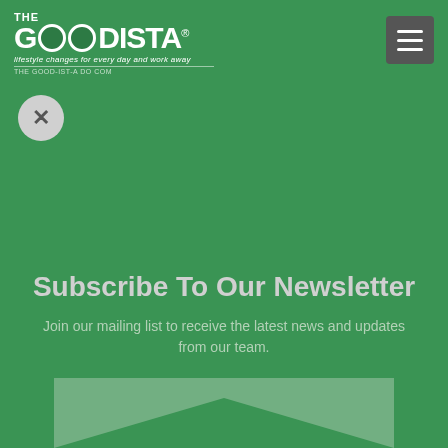[Figure (logo): The Goodista logo - white text on green background with circular Os, tagline 'lifestyle changes for every day and work away']
[Figure (other): Hamburger menu icon - dark grey rounded square with three white horizontal lines]
[Figure (other): Close button - grey circle with X symbol]
Subscribe To Our Newsletter
Join our mailing list to receive the latest news and updates from our team.
[Figure (illustration): Light green chevron/arrow shape pointing downward at the bottom of the green background]